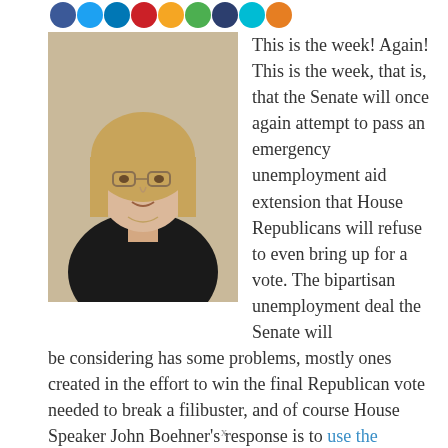[Figure (illustration): Row of colorful social media sharing icon circles in blue, teal, dark blue, red, yellow, green, dark navy, orange colors]
[Figure (photo): Author photo: a woman with glasses and blonde hair wearing a black top, smiling slightly]
This is the week! Again! This is the week, that is, that the Senate will once again attempt to pass an emergency unemployment aid extension that House Republicans will refuse to even bring up for a vote. The bipartisan unemployment deal the Senate will be considering has some problems, mostly ones created in the effort to win the final Republican vote needed to break a filibuster, and of course House Speaker John Boehner's response is to use the problems as an excuse to kill an unemployment extension altogether rather than to look for a fix. A fix should be possible:
Labor Secretary Tom Perez sent a letter to Senate leaders on